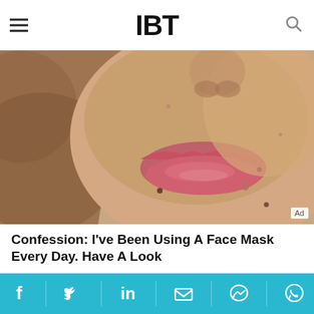IBT
[Figure (photo): Close-up of a woman's lower face showing lips with pink lipstick and skin with acne spots]
Confession: I've Been Using A Face Mask Every Day. Have A Look
HERBEAUTY
[Figure (photo): Two women smiling, with decorative framed artwork visible in the background]
Facebook, Twitter, LinkedIn, Email, Messenger, WhatsApp social share icons